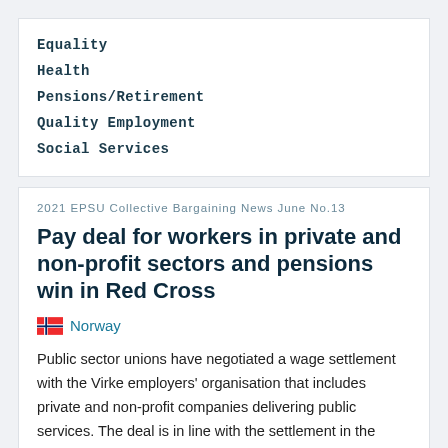Equality
Health
Pensions/Retirement
Quality Employment
Social Services
2021 EPSU Collective Bargaining News June No.13
Pay deal for workers in private and non-profit sectors and pensions win in Red Cross
Norway
Public sector unions have negotiated a wage settlement with the Virke employers' organisation that includes private and non-profit companies delivering public services. The deal is in line with the settlement in the government sector, with a 2.7% pay increase but with a flat rate payment of NOK 1,500 (EUR 145) at all salary levels, backdated to 1 May. In addition, there is NOK 4,000 (EUR 200) for the lower paid and on